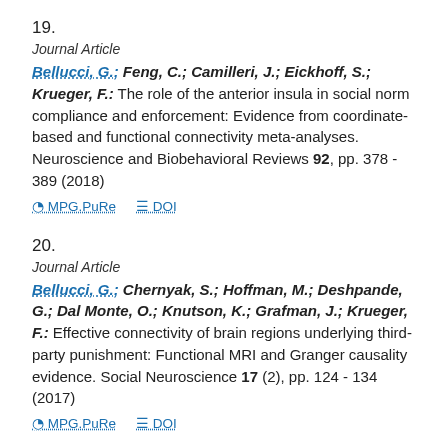19.
Journal Article
Bellucci, G.; Feng, C.; Camilleri, J.; Eickhoff, S.; Krueger, F.: The role of the anterior insula in social norm compliance and enforcement: Evidence from coordinate-based and functional connectivity meta-analyses. Neuroscience and Biobehavioral Reviews 92, pp. 378 - 389 (2018)
MPG.PuRe   DOI
20.
Journal Article
Bellucci, G.; Chernyak, S.; Hoffman, M.; Deshpande, G.; Dal Monte, O.; Knutson, K.; Grafman, J.; Krueger, F.: Effective connectivity of brain regions underlying third-party punishment: Functional MRI and Granger causality evidence. Social Neuroscience 17 (2), pp. 124 - 134 (2017)
MPG.PuRe   DOI